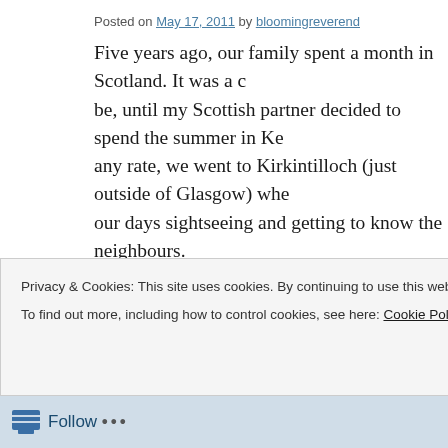Posted on May 17, 2011 by bloomingreverend
Five years ago, our family spent a month in Scotland. It was a c... be, until my Scottish partner decided to spend the summer in Ke... any rate, we went to Kirkintilloch (just outside of Glasgow) whe... our days sightseeing and getting to know the neighbours.
I had always wanted to go to Scotland. I grew up Scottish count... Church in Canada has its roots there. I even went to Thistletown... scottie dog and its cheerleading uniforms of vests and frills usua... dancers. I longed to visit a country with such rich culture and hi... the weather.
Yes, the weather. I love damp weather. A summer full of overcas...
Privacy & Cookies: This site uses cookies. By continuing to use this website, you agree to their use.
To find out more, including how to control cookies, see here: Cookie Policy